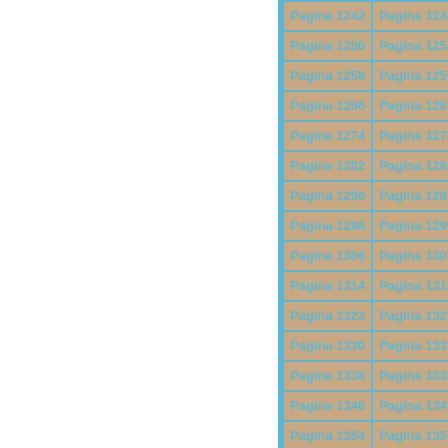| Pagina 1242 | Pagina 1243 | Pagina… |
| Pagina 1250 | Pagina 1251 | Pagina… |
| Pagina 1258 | Pagina 1259 | Pagina… |
| Pagina 1266 | Pagina 1267 | Pagina… |
| Pagina 1274 | Pagina 1275 | Pagina… |
| Pagina 1282 | Pagina 1283 | Pagina… |
| Pagina 1290 | Pagina 1291 | Pagina… |
| Pagina 1298 | Pagina 1299 | Pagina… |
| Pagina 1306 | Pagina 1307 | Pagina… |
| Pagina 1314 | Pagina 1315 | Pagina… |
| Pagina 1322 | Pagina 1323 | Pagina… |
| Pagina 1330 | Pagina 1331 | Pagina… |
| Pagina 1338 | Pagina 1339 | Pagina… |
| Pagina 1346 | Pagina 1347 | Pagina… |
| Pagina 1354 | Pagina 1355 | Pagina… |
| Pagina 1362 | Pagina 1363 | Pagina… |
| Pagina 1370 | Pagina 1371 | Pagina… |
| Pagina 1378 | Pagina 1379 | Pagina… |
| Pagina 1386 | Pagina 1387 | Pagina… |
| Pagina 1394 | Pagina 1395 | Pagina… |
| Pagina 1402 | Pagina 1403 | Pagina… |